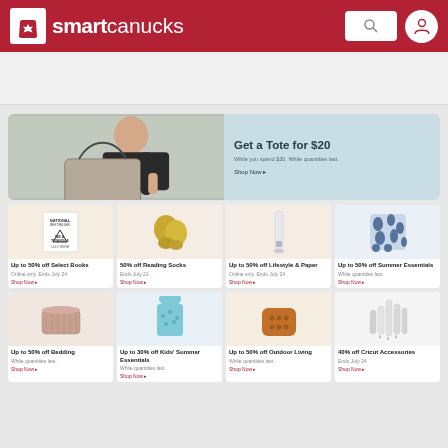smartcanucks
[Figure (infographic): Hero banner: Get a Tote for $20. While you spend $30. While quantities last. Shop Now.]
[Figure (photo): Up to 50% off Select Books. Online only. Ends July 24. Shop Now.]
[Figure (photo): 50% off Reading Socks. Ends July 21. Shop Now.]
[Figure (photo): Up to 50% off Lifestyle & Paper. Online only. Ends July 24. Shop Now.]
[Figure (photo): Up to 50% off Summer Essentials. While quantities last. Shop Now.]
[Figure (photo): Up to 50% off Bedding. While quantities last. Shop Now.]
[Figure (photo): Up to 30% off Kids' Summer Essentials. While quantities last. Shop Now.]
[Figure (photo): Up to 50% off Outdoor Living. While quantities last. Shop Now.]
[Figure (photo): 40% off Cricut Accessories. Ends July 24. Shop Now.]